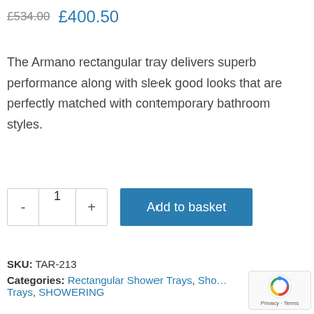£534.00  £400.50
The Armano rectangular tray delivers superb performance along with sleek good looks that are perfectly matched with contemporary bathroom styles.
- 1 +  Add to basket
SKU: TAR-213
Categories: Rectangular Shower Trays, Shower Trays, SHOWERING